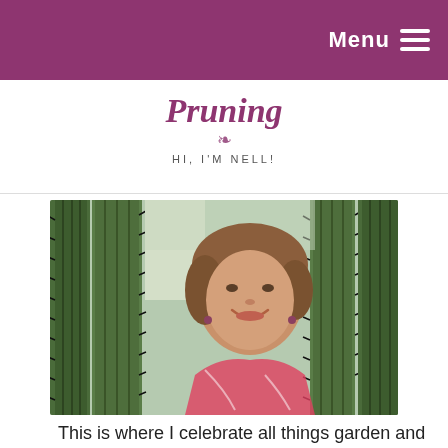Menu ≡
Pruning
HI, I'M NELL!
[Figure (photo): A smiling woman with short wavy hair standing in front of tall cactus plants outdoors]
This is where I celebrate all things garden and share my passion for plants, flowers and the great outdoors. Oh, I love to create so you'll find a bit of that in the mix along